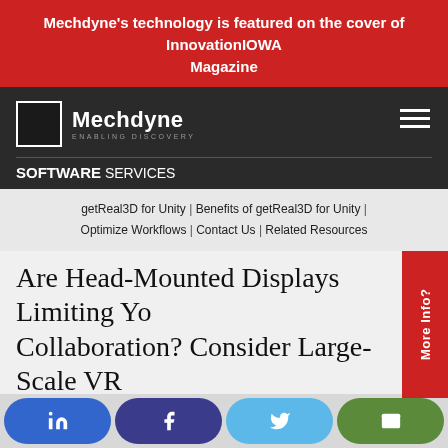Mechdyne's technology is featured on the cover of InnovationIOWA Magazine
[Figure (logo): Mechdyne logo with text 'ENABLING DISCOVERY' and hamburger menu icon. SOFTWARE SERVICES navigation label below.]
getReal3D for Unity | Benefits of getReal3D for Unity | Optimize Workflows | Contact Us | Related Resources
Are Head-Mounted Displays Limiting Your Collaboration? Consider Large-Scale VR
If your organization has embraced VR with the use of H... you've likely begun to see the benefits of incorporating this technology into your workflows. For some
[Figure (infographic): Social media share buttons: LinkedIn (blue), Facebook (dark blue), Twitter (light blue), Email (green)]